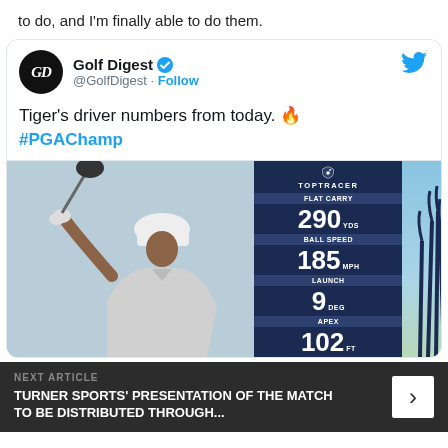to do, and I'm finally able to do them.
[Figure (screenshot): Tweet from Golf Digest (@GolfDigest) showing Tiger's driver numbers from today with a Toptracer stats panel: Flat Carry 290 YDS, Ball Speed 185 MPH, Launch 9 DEG, Apex 102 FT. Includes a photo of Tiger Woods mid-swing. Hashtag #PGAChamp.]
Tiger's driver numbers from today. 🔥 #PGAChamp
NEXT ARTICLE
TURNER SPORTS' PRESENTATION OF THE MATCH TO BE DISTRIBUTED THROUGH...